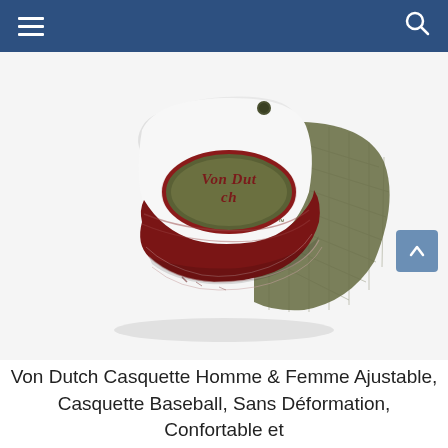Navigation bar with hamburger menu and search icon
[Figure (photo): Von Dutch trucker baseball cap with white front panel, olive/khaki mesh back, dark red/burgundy distressed brim, and Von Dutch oval logo patch on the front. Cap is shown at an angle on a light gray background.]
Von Dutch Casquette Homme & Femme Ajustable, Casquette Baseball, Sans Déformation, Confortable et